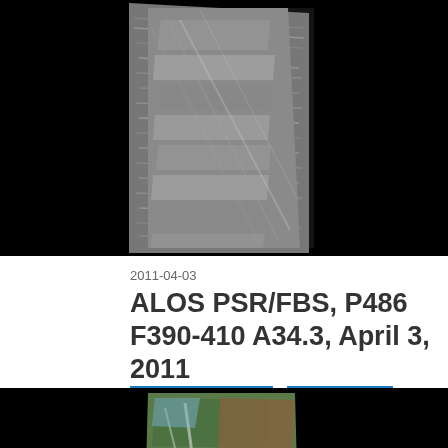[Figure (photo): Grayscale satellite radar image (ALOS PALSAR) showing terrain with linear features, surrounded by black background]
2011-04-03
ALOS PSR/FBS, P486 F390-410 A34.3, April 3, 2011
[Figure (screenshot): DOWNLOAD button with download icon, blue border]
[Figure (screenshot): VIEW button with magnifier icon, blue border]
[Figure (photo): Color satellite image showing green and brown terrain with black background, partially visible at bottom of page]